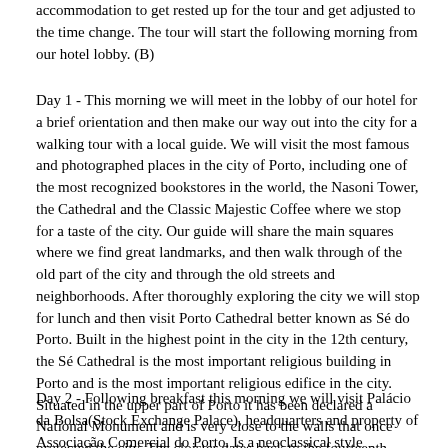accommodation to get rested up for the tour and get adjusted to the time change. The tour will start the following morning from our hotel lobby. (B)
Day 1 - This morning we will meet in the lobby of our hotel for a brief orientation and then make our way out into the city for a walking tour with a local guide. We will visit the most famous and photographed places in the city of Porto, including one of the most recognized bookstores in the world, the Nasoni Tower, the Cathedral and the Classic Majestic Coffee where we stop for a taste of the city. Our guide will share the main squares where we find great landmarks, and then walk through of the old part of the city and through the old streets and neighborhoods. After thoroughly exploring the city we will stop for lunch and then visit Porto Cathedral better known as Sé do Porto. Built in the highest point in the city in the 12th century, the Sé Cathedral is the most important religious building in Porto and is the most important religious edifice in the city. Situated in the upper part of Porto it has been declared a National Monument and is very close to the walls that once protected the city. The cloister dates back to the fourteenth century and is decorated with tiles painted with some of the scenes from the Bible. We will also visit the Casa do Cabildo, which features the Cathedral Treasure, a collection of it's most precious possessions. You will then have some time in the city before we meet up for our Welcoming Dinner. Dinner and Overnight Porto. (B,L,D)
Day 2 - Following breakfast this morning we will visit Palácio da Bolsa(Stock Exchange Palace), headquarters and property of Associação Comercial do Porto. Is a neoclassical style building, whose construction started on the 6th October 1842, the day where the first stone was put to place, due to the closure of the stock exchange that obliged the Porto